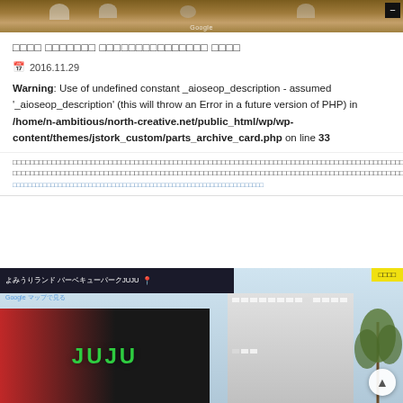[Figure (screenshot): Top portion of a Google Maps screenshot showing a brown wooden surface with circular objects, with a Google watermark and a minus button.]
□□□□ □□□□□□□ □□□□□□□□□□□□□□□ □□□□
2016.11.29
Warning: Use of undefined constant _aioseop_description - assumed '_aioseop_description' (this will throw an Error in a future version of PHP) in /home/n-ambitious/north-creative.net/public_html/wp/wp-content/themes/jstork_custom/parts_archive_card.php on line 33
[Japanese text description lines]
[Japanese link text]
[Figure (screenshot): Bottom portion showing a Google Maps screenshot of Yomiuri Land BBQ Park JUJU store front and building, with a yellow badge in the top right corner.]